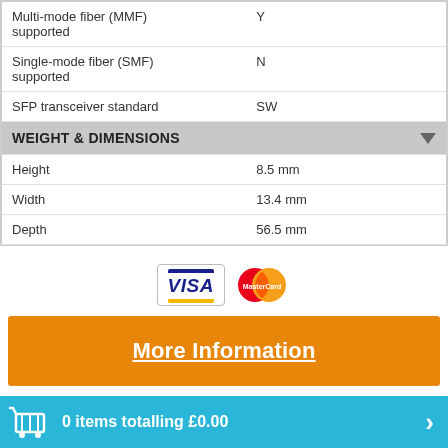| Property | Value |
| --- | --- |
| Multi-mode fiber (MMF) supported | Y |
| Single-mode fiber (SMF) supported | N |
| SFP transceiver standard | SW |
| WEIGHT & DIMENSIONS |  |
| Height | 8.5 mm |
| Width | 13.4 mm |
| Depth | 56.5 mm |
[Figure (logo): VISA and MasterCard payment logos]
More Information
0 items totalling £0.00